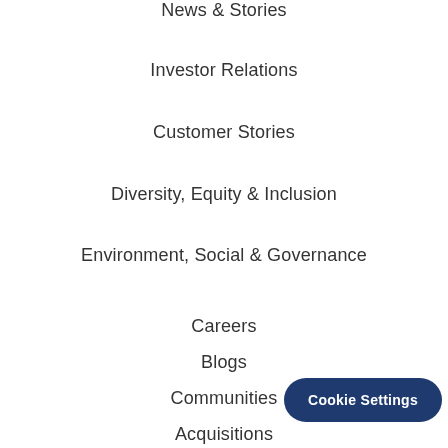News & Stories
Investor Relations
Customer Stories
Diversity, Equity & Inclusion
Environment, Social & Governance
Careers
Blogs
Communities
Acquisitions
Office Locations
VMware Cloud Tru...
Cookie Settings